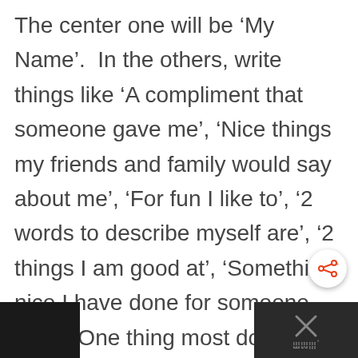The center one will be ‘My Name’.  In the others, write things like ‘A compliment that someone gave me’, ‘Nice things my friends and family would say about me’, ‘For fun I like to’, ‘2 words to describe myself are’, ‘2 things I am good at’, ‘Something nice I have done for someone else’, ‘One thing most don’t know about